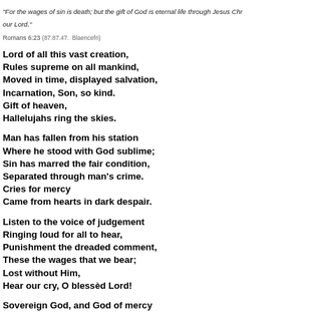“For the wages of sin is death; but the gift of God is eternal life through Jesus Chr… our Lord.”
Romans 6:23 (87.87.47.  Blaencefn)
Lord of all this vast creation,
Rules supreme on all mankind,
Moved in time, displayed salvation,
Incarnation, Son, so kind.
Gift of heaven,
Hallelujahs ring the skies.
Man has fallen from his station
Where he stood with God sublime;
Sin has marred the fair condition,
Separated through man’s crime.
Cries for mercy
Came from hearts in dark despair.
Listen to the voice of judgement
Ringing loud for all to hear,
Punishment the dreaded comment,
These the wages that we bear;
Lost without Him,
Hear our cry, O blessèd Lord!
Sovereign God, and God of mercy